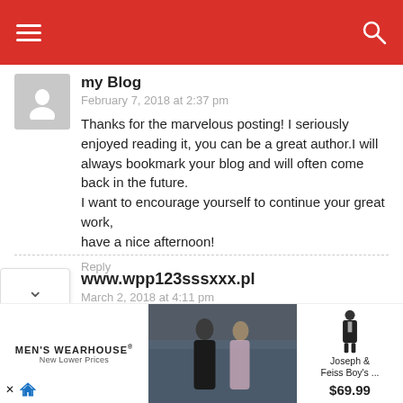Navigation header with hamburger menu and search icon
my Blog
February 7, 2018 at 2:37 pm
Thanks for the marvelous posting! I seriously enjoyed reading it, you can be a great author.I will always bookmark your blog and will often come back in the future.
I want to encourage yourself to continue your great work,
have a nice afternoon!
Reply
www.wpp123sssxxx.pl
March 2, 2018 at 4:11 pm
[Figure (screenshot): Men's Wearhouse advertisement banner showing a couple in formal wear and a boy's suit product listing for Joseph & Feiss Boy's suit at $69.99]